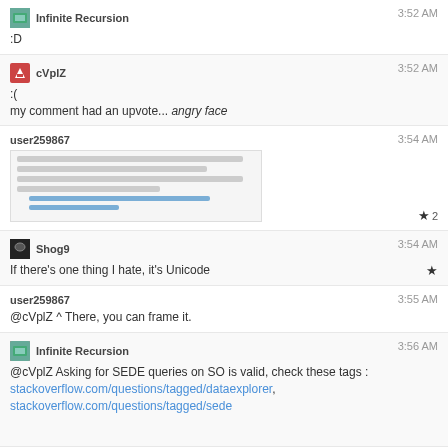Infinite Recursion  3:52 AM  :D
cVplZ  3:52 AM  :(  my comment had an upvote... angry face
[Figure (screenshot): Screenshot of a Stack Overflow page with text lines]
user259867  3:54 AM  ★ 2
Shog9  3:54 AM  If there's one thing I hate, it's Unicode  ★
user259867  3:55 AM  @cVplZ ^ There, you can frame it.
Infinite Recursion  3:56 AM  @cVplZ Asking for SEDE queries on SO is valid, check these tags : stackoverflow.com/questions/tagged/dataexplorer, stackoverflow.com/questions/tagged/sede
cVplZ  3:59 AM  He's self propelled, runs on Mountain Dew, and costs next to nothing.
Infinite Recursion  4:00 AM